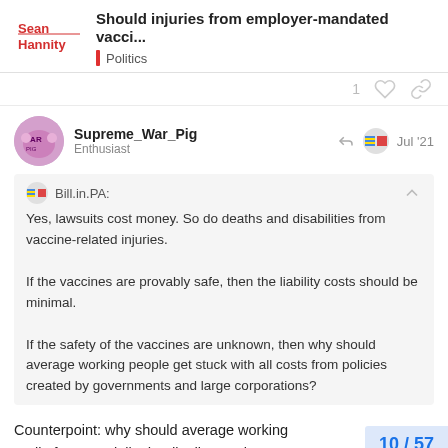Should injuries from employer-mandated vacci... | Politics
1 [like] [link]
Supreme_War_Pig
Enthusiast
Jul '21
Bill.in.PA:
Yes, lawsuits cost money. So do deaths and disabilities from vaccine-related injuries.

If the vaccines are provably safe, then the liability costs should be minimal.

If the safety of the vaccines are unknown, then why should average working people get stuck with all costs from policies created by governments and large corporations?
Counterpoint: why should average working people be put in peril of a potentially deadly disease by unv...
10 / 57